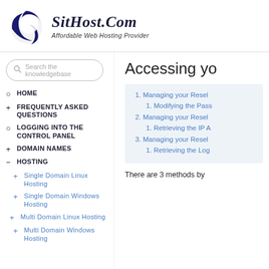[Figure (logo): SitHost.Com logo with stylized globe graphic and tagline 'Affordable Web Hosting Provider']
Search the knowledgebase
HOME
FREQUENTLY ASKED QUESTIONS
LOGGING INTO THE CONTROL PANEL
DOMAIN NAMES
HOSTING
Single Domain Linux Hosting
Single Domain Windows Hosting
Multi Domain Linux Hosting
Multi Domain Windows Hosting
Accessing yo
| 1. Managing your Resel |
| 1. Modifying the Pass |
| 2. Managing your Resel |
| 1. Retrieving the IP A |
| 3. Managing your Resel |
| 1. Retrieving the Log |
There are 3 methods by